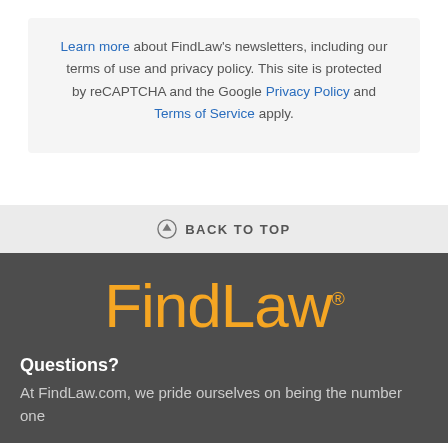Learn more about FindLaw's newsletters, including our terms of use and privacy policy. This site is protected by reCAPTCHA and the Google Privacy Policy and Terms of Service apply.
BACK TO TOP
[Figure (logo): FindLaw logo in orange text with registered trademark symbol]
Questions?
At FindLaw.com, we pride ourselves on being the number one source of free legal information and resources on the web. Contact us.